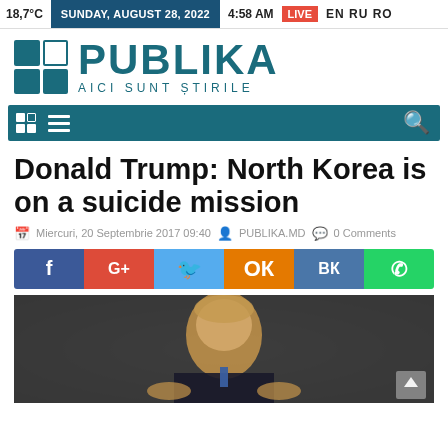18,7°C  SUNDAY, AUGUST 28, 2022  4:58 AM  LIVE  EN RU RO
[Figure (logo): Publika logo with teal grid icon and text PUBLIKA AICI SUNT ȘTIRILE]
[Figure (screenshot): Navigation bar with grid icon, hamburger menu, and search icon on teal background]
Donald Trump: North Korea is on a suicide mission
Miercuri, 20 Septembrie 2017 09:40   PUBLIKA.MD   0 Comments
[Figure (infographic): Social sharing buttons: Facebook, Google+, Twitter, Odnoklassniki, VKontakte, WhatsApp]
[Figure (photo): Photo of Donald Trump speaking, gesturing with hands, wearing blue tie, dark background]